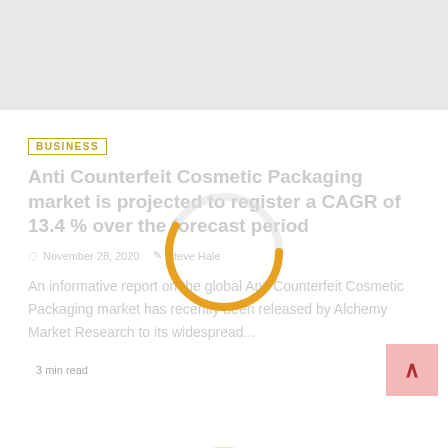[Figure (photo): Gray placeholder image area at the top of the page]
BUSINESS
Anti Counterfeit Cosmetic Packaging market is projected to register a CAGR of 13.4 % over the forecast period
November 28, 2020  Steve Hale
An informative report on the global Anti Counterfeit Cosmetic Packaging market has recently been released by Alchemy Market Research to its widespread...
3 min read
[Figure (illustration): Partial orange circular loading spinner or decorative circle graphic at bottom]